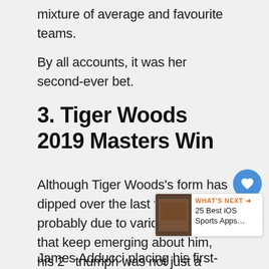mixture of average and favourite teams.
By all accounts, it was her second-ever bet.
3. Tiger Woods 2019 Masters Win
Although Tiger Woods's form has dipped over the last few years probably due to various scandals that keep emerging about him, his 20... triumph was not just a bounce-back for hi...
James Adducci placing his first-ever sports bet